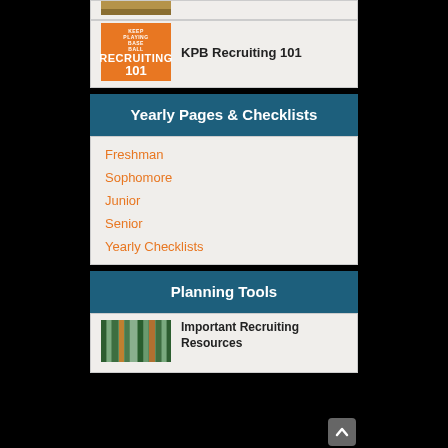[Figure (photo): Partial view of a book cover at the top of the page]
KPB Recruiting 101
Yearly Pages & Checklists
Freshman
Sophomore
Junior
Senior
Yearly Checklists
Planning Tools
Important Recruiting Resources